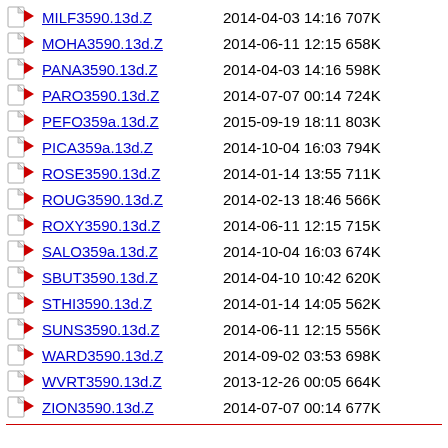MILF3590.13d.Z 2014-04-03 14:16 707K
MOHA3590.13d.Z 2014-06-11 12:15 658K
PANA3590.13d.Z 2014-04-03 14:16 598K
PARO3590.13d.Z 2014-07-07 00:14 724K
PEFO359a.13d.Z 2015-09-19 18:11 803K
PICA359a.13d.Z 2014-10-04 16:03 794K
ROSE3590.13d.Z 2014-01-14 13:55 711K
ROUG3590.13d.Z 2014-02-13 18:46 566K
ROXY3590.13d.Z 2014-06-11 12:15 715K
SALO359a.13d.Z 2014-10-04 16:03 674K
SBUT3590.13d.Z 2014-04-10 10:42 620K
STHI3590.13d.Z 2014-01-14 14:05 562K
SUNS3590.13d.Z 2014-06-11 12:15 556K
WARD3590.13d.Z 2014-09-02 03:53 698K
WVRT3590.13d.Z 2013-12-26 00:05 664K
ZION3590.13d.Z 2014-07-07 00:14 677K